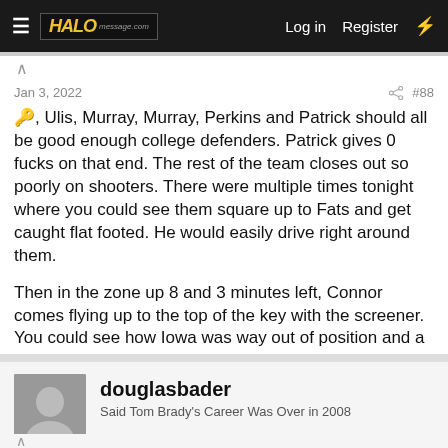HALO | Log in | Register
Jan 3, 2022  #88
🔑, Ulis, Murray, Murray, Perkins and Patrick should all be good enough college defenders. Patrick gives 0 fucks on that end. The rest of the team closes out so poorly on shooters. There were multiple times tonight where you could see them square up to Fats and get caught flat footed. He would easily drive right around them.

Then in the zone up 8 and 3 minutes left, Connor comes flying up to the top of the key with the screener. You could see how Iowa was way out of position and a wide open corner 3 was 2 passes away which they of course made.
Thomas Wolsey
douglasbader
Said Tom Brady's Career Was Over in 2008